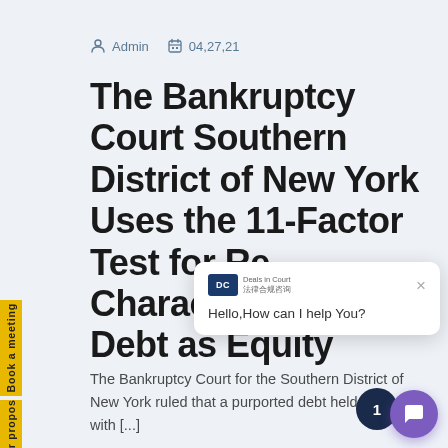Admin  04,27,21
The Bankruptcy Court Southern District of New York Uses the 11-Factor Test for Re-Characterization of Debt as Equity
The Bankruptcy Court for the Southern District of New York ruled that a purported debt held by entity with [...]